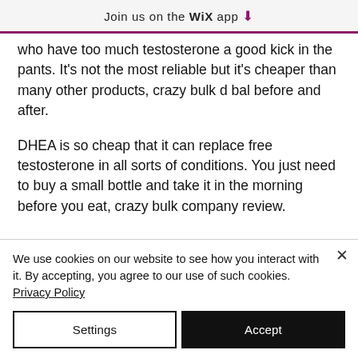Join us on the WiX app ⬇
who have too much testosterone a good kick in the pants. It's not the most reliable but it's cheaper than many other products, crazy bulk d bal before and after.
DHEA is so cheap that it can replace free testosterone in all sorts of conditions. You just need to buy a small bottle and take it in the morning before you eat, crazy bulk company review.
We use cookies on our website to see how you interact with it. By accepting, you agree to our use of such cookies. Privacy Policy